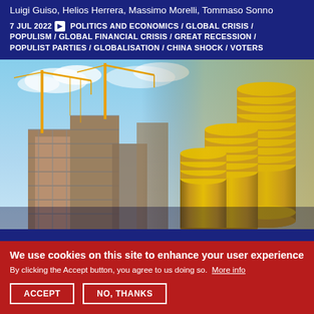Luigi Guiso, Helios Herrera, Massimo Morelli, Tommaso Sonno
7 JUL 2022 POLITICS AND ECONOMICS / GLOBAL CRISIS / POPULISM / GLOBAL FINANCIAL CRISIS / GREAT RECESSION / POPULIST PARTIES / GLOBALISATION / CHINA SHOCK / VOTERS
[Figure (photo): Composite photo showing construction cranes and building scaffolding on the left, blending into stacked gold coins on the right, against a blue sky background.]
We use cookies on this site to enhance your user experience
By clicking the Accept button, you agree to us doing so. More info
ACCEPT
NO, THANKS